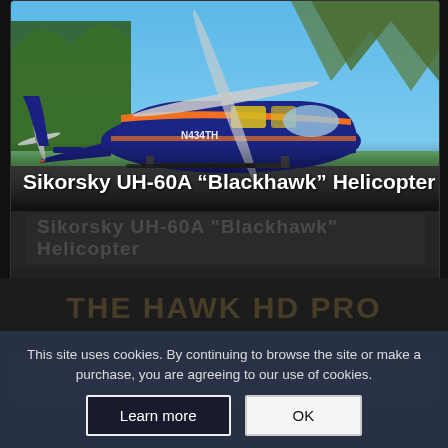[Figure (photo): Blue and orange Sikorsky UH-60A Blackhawk helicopter on tarmac with mountains in background, registration N434TH]
Sikorsky UH-60A “Blackhawk” Helicopter
The Hawk HD Pro
$199.00
Add to cart
Show Details
This site uses cookies. By continuing to browse the site or make a purchase, you are agreeing to our use of cookies.
Learn more
OK